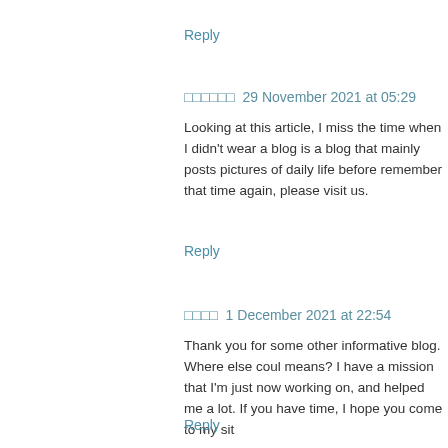Reply
□□□□□□  29 November 2021 at 05:29
Looking at this article, I miss the time when I didn't wear a blog is a blog that mainly posts pictures of daily life before remember that time again, please visit us.
Reply
□□□□  1 December 2021 at 22:54
Thank you for some other informative blog. Where else coul means? I have a mission that I'm just now working on, and helped me a lot. If you have time, I hope you come to my sit
Reply